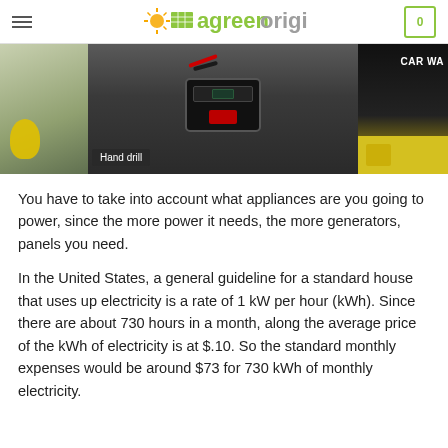agreenorigin
[Figure (photo): Photo strip showing power tools and car wash equipment. Left panel shows a yellow tool, center shows a black portable power station/jump starter with cables and red indicator light, right panel shows car wash sign. Caption overlay reads 'Hand drill'.]
Hand drill
You have to take into account what appliances are you going to power, since the more power it needs, the more generators, panels you need.
In the United States, a general guideline for a standard house that uses up electricity is a rate of 1 kW per hour (kWh). Since there are about 730 hours in a month, along the average price of the kWh of electricity is at $.10. So the standard monthly expenses would be around $73 for 730 kWh of monthly electricity.